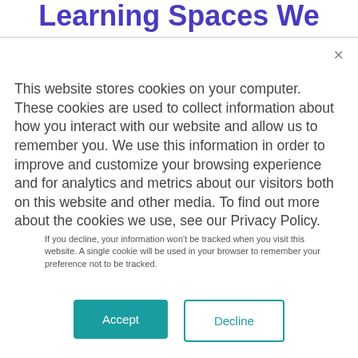Learning Spaces We
This website stores cookies on your computer. These cookies are used to collect information about how you interact with our website and allow us to remember you. We use this information in order to improve and customize your browsing experience and for analytics and metrics about our visitors both on this website and other media. To find out more about the cookies we use, see our Privacy Policy.
If you decline, your information won't be tracked when you visit this website. A single cookie will be used in your browser to remember your preference not to be tracked.
Accept
Decline